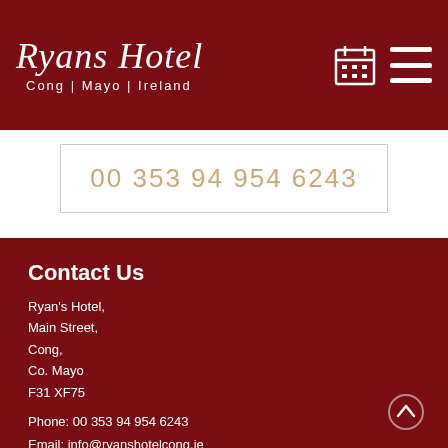Ryans Hotel — Cong | Mayo | Ireland
00 353 94 954 6243
Contact Us
Ryan's Hotel,
Main Street,
Cong,
Co. Mayo
F31 XF75
Phone: 00 353 94 954 6243
Email: info@ryanshotelcong.ie